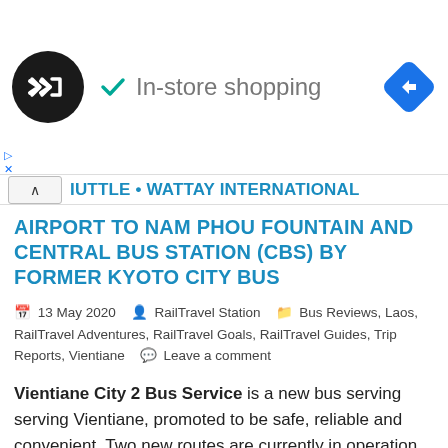[Figure (infographic): Ad banner with circular black logo with double-arrow symbol, teal checkmark and 'In-store shopping' text, and blue diamond navigation icon on the right]
SHUTTLE • WATTAY INTERNATIONAL AIRPORT TO NAM PHOU FOUNTAIN AND CENTRAL BUS STATION (CBS) BY FORMER KYOTO CITY BUS
13 May 2020  RailTravel Station  Bus Reviews, Laos, RailTravel Adventures, RailTravel Goals, RailTravel Guides, Trip Reports, Vientiane  Leave a comment
Vientiane City 2 Bus Service is a new bus serving serving Vientiane, promoted to be safe, reliable and convenient. Two new routes are currently in operation, namely the ITECC-Talat